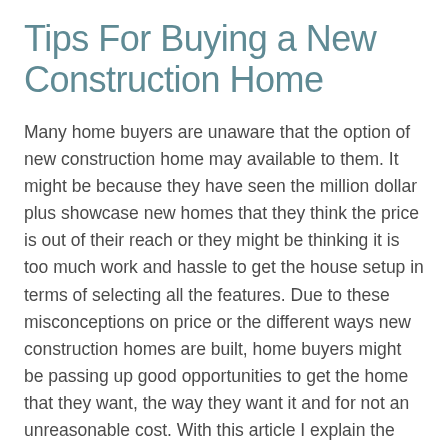Tips For Buying a New Construction Home
Many home buyers are unaware that the option of new construction home may available to them. It might be because they have seen the million dollar plus showcase new homes that they think the price is out of their reach or they might be thinking it is too much work and hassle to get the house setup in terms of selecting all the features. Due to these misconceptions on price or the different ways new construction homes are built, home buyers might be passing up good opportunities to get the home that they want, the way they want it and for not an unreasonable cost. With this article I explain the various aspects of new construction that home buyers should be looking at as the conduct their search.